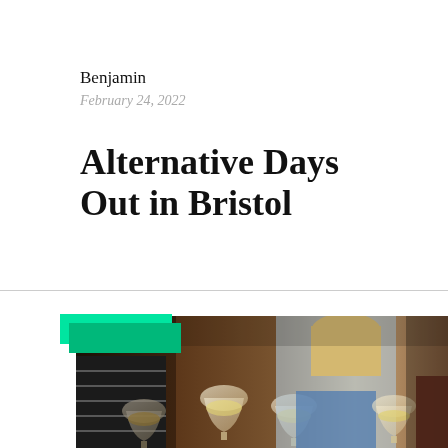Benjamin
February 24, 2022
Alternative Days Out in Bristol
[Figure (photo): Group of people clinking wine glasses together, social gathering scene. A woman in a light blue/white top is visible in the background. People holding various wine glasses filled with white wine.]
LIFESTYLE